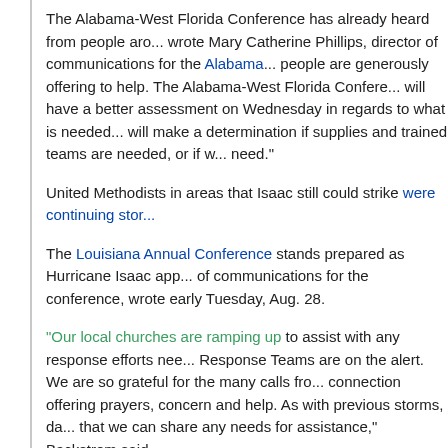The Alabama-West Florida Conference has already heard from people aro... wrote Mary Catherine Phillips, director of communications for the Alabama... people are generously offering to help. The Alabama-West Florida Confere... will have a better assessment on Wednesday in regards to what is needed... will make a determination if supplies and trained teams are needed, or if w... need."
United Methodists in areas that Isaac still could strike were continuing stor...
The Louisiana Annual Conference stands prepared as Hurricane Isaac app... of communications for the conference, wrote early Tuesday, Aug. 28.
“Our local churches are ramping up to assist with any response efforts nee... Response Teams are on the alert. We are so grateful for the many calls fro... connection offering prayers, concern and help. As with previous storms, da... that we can share any needs for assistance,” Backstrom said.
The United Methodist Committee on Relief, the denomination’s relief agen... storm.
“With each passing hurricane season, I believe that we as United Methodis... forbid, we are hit with another Katrina-like hurricane,” writes the Rev. Tom... response, in a blog post.